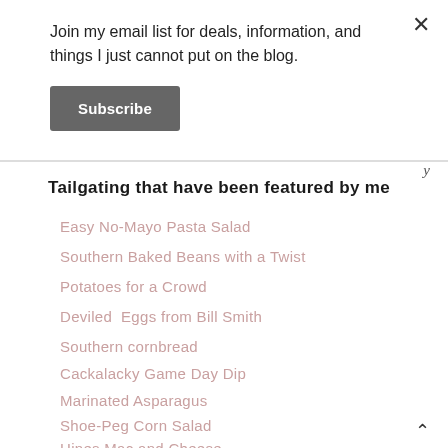Join my email list for deals, information, and things I just cannot put on the blog.
Subscribe
Tailgating that have been featured by me
Easy No-Mayo Pasta Salad
Southern Baked Beans with a Twist
Potatoes for a Crowd
Deviled  Eggs from Bill Smith
Southern cornbread
Cackalacky Game Day Dip
Marinated Asparagus
Shoe-Peg Corn Salad
Hines Mac and Cheese